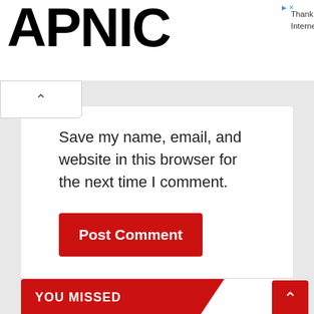APNIC
Thank you for helping us measure the Internet.
Save my name, email, and website in this browser for the next time I comment.
Post Comment
YOU MISSED